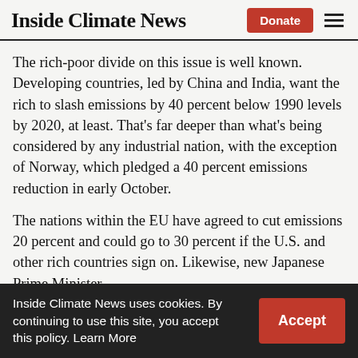Inside Climate News
The rich-poor divide on this issue is well known. Developing countries, led by China and India, want the rich to slash emissions by 40 percent below 1990 levels by 2020, at least. That's far deeper than what's being considered by any industrial nation, with the exception of Norway, which pledged a 40 percent emissions reduction in early October.
The nations within the EU have agreed to cut emissions 20 percent and could go to 30 percent if the U.S. and other rich countries sign on. Likewise, new Japanese Prime Minister
Inside Climate News uses cookies. By continuing to use this site, you accept this policy. Learn More